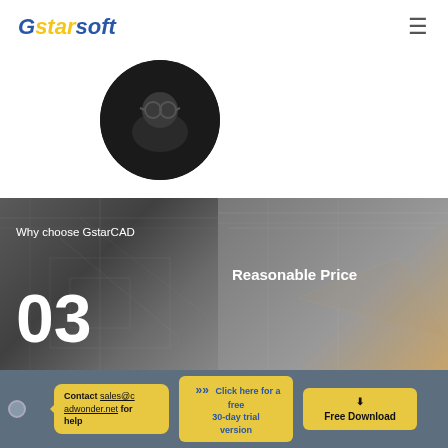Gstarsoft
[Figure (photo): Circular avatar photo of a person wearing glasses, dark background]
[Figure (photo): Two-panel banner image: left panel shows dark blueprint/CAD drawing background with text 'Why choose GstarCAD' and large number '03'; right panel shows drafting tools on a desk background with text 'Reasonable Price']
Significant cost savings through switch to GstarCAD!
One of the major benefits of switching to GstarCAD
Contact sales@cadwonder.net for help
Click here for a free 30-day trial version
Free Download